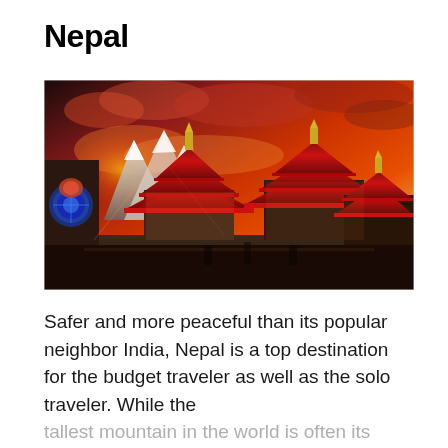Nepal
[Figure (photo): Photograph of traditional Nepali pagoda-style temples with red-trimmed roofs against a dramatic red and orange sunset sky, with mountains in the background. Decorative stone carvings and a blue circular mandala arch visible on the left.]
Safer and more peaceful than its popular neighbor India, Nepal is a top destination for the budget traveler as well as the solo traveler. While the tallest mountain in the world is often its biggest appeal, Nepal has a lot to offer and to some, a